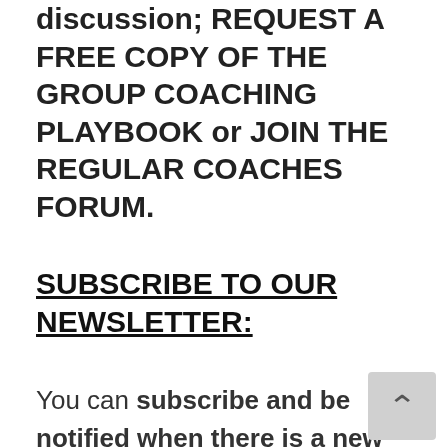discussion; REQUEST A FREE COPY OF THE GROUP COACHING PLAYBOOK or JOIN THE REGULAR COACHES FORUM.
SUBSCRIBE TO OUR NEWSLETTER:
You can subscribe and be notified when there is a new posting on this site. You can do so by adding your first name and email address in the boxes under 'Subscribe to Our Newsletter' found to the right of the picture above